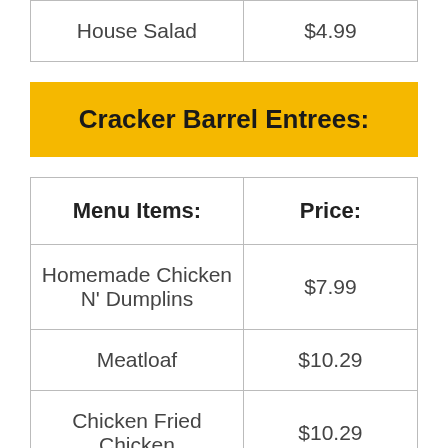| House Salad | $4.99 |
Cracker Barrel Entrees:
| Menu Items: | Price: |
| --- | --- |
| Homemade Chicken N' Dumplins | $7.99 |
| Meatloaf | $10.29 |
| Chicken Fried Chicken | $10.29 |